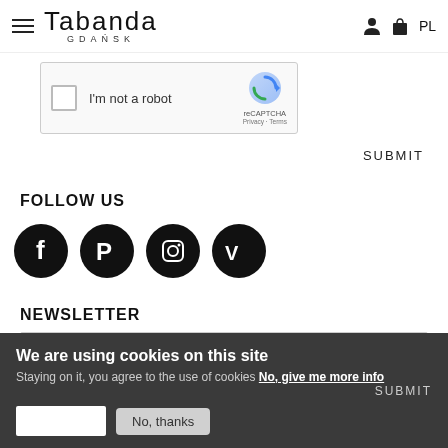Tabanda Gdańsk — navigation header with hamburger menu, logo, user icon, bag icon, language PL
[Figure (screenshot): reCAPTCHA widget with checkbox labeled 'I'm not a robot', reCAPTCHA logo, Privacy and Terms links]
SUBMIT
FOLLOW US
[Figure (infographic): Four black circular social media icons: Facebook, Pinterest, Instagram, Vimeo]
NEWSLETTER
[Figure (screenshot): Newsletter email input field]
We are using cookies on this site
Staying on it, you agree to the use of cookies No, give me more info
SUBMIT
No, thanks